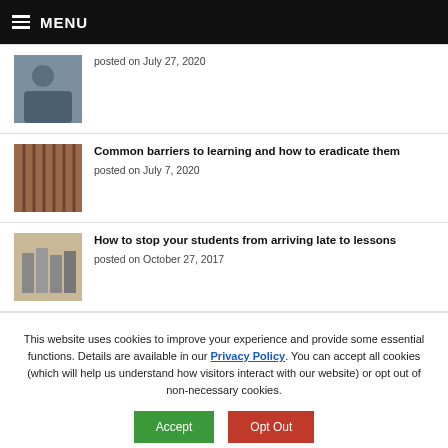MENU
posted on July 27, 2020
Common barriers to learning and how to eradicate them
posted on July 7, 2020
How to stop your students from arriving late to lessons
posted on October 27, 2017
This website uses cookies to improve your experience and provide some essential functions. Details are available in our Privacy Policy. You can accept all cookies (which will help us understand how visitors interact with our website) or opt out of non-necessary cookies.